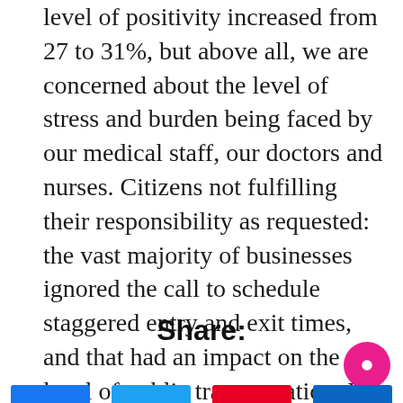level of positivity increased from 27 to 31%, but above all, we are concerned about the level of stress and burden being faced by our medical staff, our doctors and nurses. Citizens not fulfilling their responsibility as requested: the vast majority of businesses ignored the call to schedule staggered entry and exit times, and that had an impact on the risk level of public transportation. He urges everyone to stay at home and only go out when absolutely necessary.
Share: